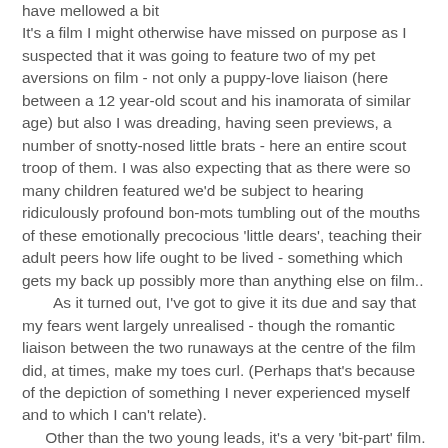have mellowed a bit
It's a film I might otherwise have missed on purpose as I suspected that it was going to feature two of my pet aversions on film - not only a puppy-love liaison (here between a 12 year-old scout and his inamorata of similar age) but also I was dreading, having seen previews, a number of snotty-nosed little brats - here an entire scout troop of them. I was also expecting that as there were so many children featured we'd be subject to hearing ridiculously profound bon-mots tumbling out of the mouths of these emotionally precocious 'little dears', teaching their adult peers how life ought to be lived - something which gets my back up possibly more than anything else on film..
     As it turned out, I've got to give it its due and say that my fears went largely unrealised - though the romantic liaison between the two runaways at the centre of the film did, at times, make my toes curl. (Perhaps that's because of the depiction of something I never experienced myself and to which I can't relate).
   Other than the two young leads, it's a very 'bit-part' film. Among the adult players it's only Edward Norton who, as the earnest, put-upon scoutmaster, has a part he can get his